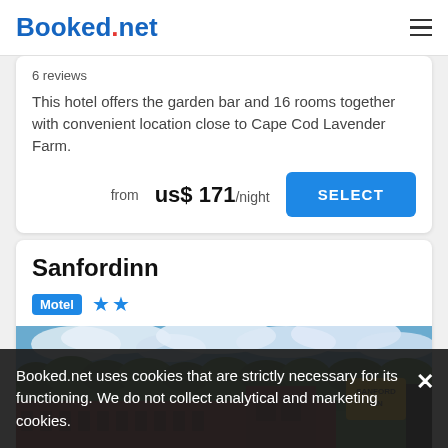Booked.net
6 reviews
This hotel offers the garden bar and 16 rooms together with convenient location close to Cape Cod Lavender Farm.
from us$ 171/night
Sanfordinn
Motel ★★
[Figure (photo): Photo of Sanfordinn motel exterior: long red building with motel rooms, trees in background, cloudy sky, yellow Sanford Inn sign on right side]
Booked.net uses cookies that are strictly necessary for its functioning. We do not collect analytical and marketing cookies.